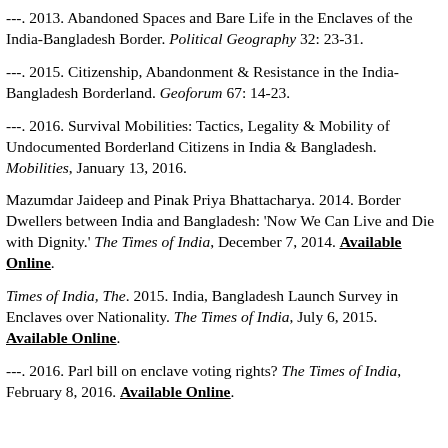---. 2013. Abandoned Spaces and Bare Life in the Enclaves of the India-Bangladesh Border. Political Geography 32: 23-31.
---. 2015. Citizenship, Abandonment & Resistance in the India-Bangladesh Borderland. Geoforum 67: 14-23.
---. 2016. Survival Mobilities: Tactics, Legality & Mobility of Undocumented Borderland Citizens in India & Bangladesh. Mobilities, January 13, 2016.
Mazumdar Jaideep and Pinak Priya Bhattacharya. 2014. Border Dwellers between India and Bangladesh: 'Now We Can Live and Die with Dignity.' The Times of India, December 7, 2014. Available Online.
Times of India, The. 2015. India, Bangladesh Launch Survey in Enclaves over Nationality. The Times of India, July 6, 2015. Available Online.
---. 2016. Parl bill on enclave voting rights? The Times of India, February 8, 2016. Available Online.